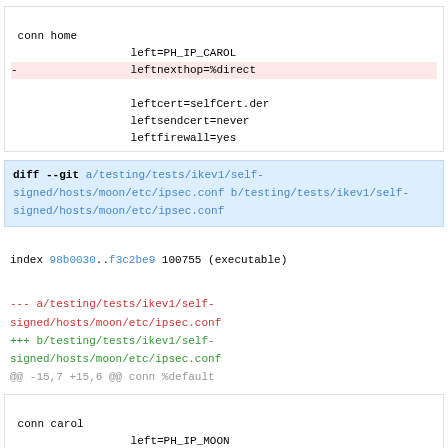conn home
        left=PH_IP_CAROL
-       leftnexthop=%direct
        leftcert=selfCert.der
        leftsendcert=never
        leftfirewall=yes
diff --git a/testing/tests/ikev1/self-signed/hosts/moon/etc/ipsec.conf b/testing/tests/ikev1/self-signed/hosts/moon/etc/ipsec.conf
index 98b0030..f3c2be9 100755 (executable)
--- a/testing/tests/ikev1/self-signed/hosts/moon/etc/ipsec.conf
+++ b/testing/tests/ikev1/self-signed/hosts/moon/etc/ipsec.conf
@@ -15,7 +15,6 @@ conn %default
conn carol
        left=PH_IP_MOON
-       leftnexthop=%direct
        leftcert=moonCert.der
        leftid=@moon.strongswan.org